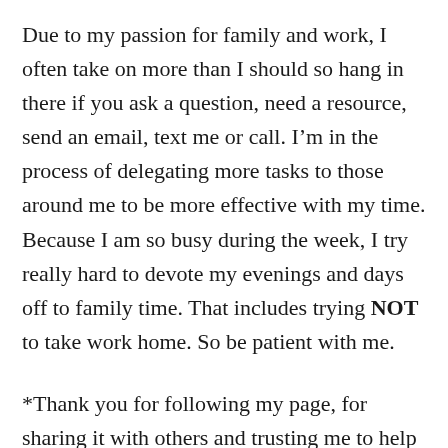Due to my passion for family and work, I often take on more than I should so hang in there if you ask a question, need a resource, send an email, text me or call. I'm in the process of delegating more tasks to those around me to be more effective with my time. Because I am so busy during the week, I try really hard to devote my evenings and days off to family time. That includes trying NOT to take work home. So be patient with me.
*Thank you for following my page, for sharing it with others and trusting me to help you or